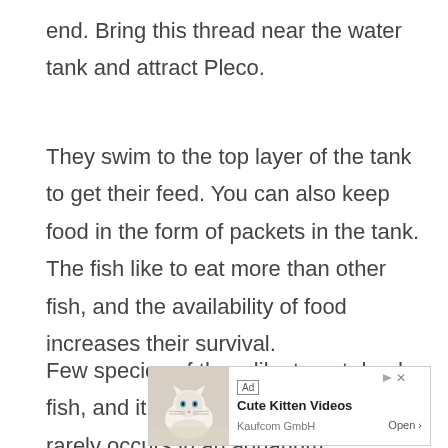end. Bring this thread near the water tank and attract Pleco.
They swim to the top layer of the tank to get their feed. You can also keep food in the form of packets in the tank. The fish like to eat more than other fish, and the availability of food increases their survival.
Few species of them like to eat dead fish, and it is an optional thing and rarely occurs in an aquarium.
[Figure (other): Advertisement banner for 'Cute Kitten Videos' by Kaufcom GmbH, showing a kitten photo, Ad label, play icon, X close button, and Open arrow link.]